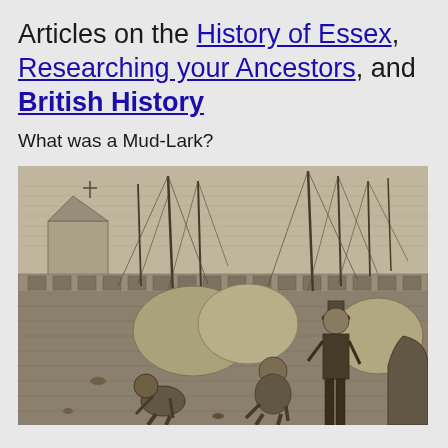Articles on the History of Essex, Researching your Ancestors, and British History
What was a Mud-Lark?
[Figure (illustration): Victorian-era black and white engraving showing mud-larks (children and adults) scavenging along a Thames riverbank, with tall sailing ships, masts, rigging, and dockside buildings visible in the background. Several figures are crouched or bending down near the water's edge collecting items from the mud.]